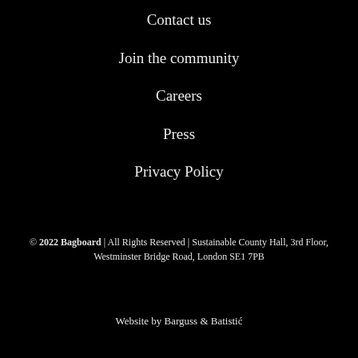Contact us
Join the community
Careers
Press
Privacy Policy
© 2022 Bagboard | All Rights Reserved | Sustainable County Hall, 3rd Floor, Westminster Bridge Road, London SE1 7PB
Website by Barguss & Batistić